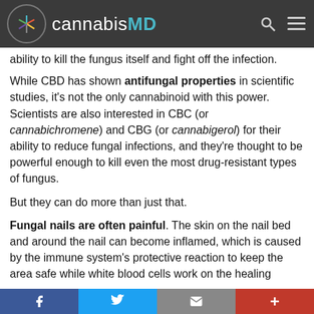cannabisMD
ability to kill the fungus itself and fight off the infection.
While CBD has shown antifungal properties in scientific studies, it's not the only cannabinoid with this power. Scientists are also interested in CBC (or cannabichromene) and CBG (or cannabigerol) for their ability to reduce fungal infections, and they're thought to be powerful enough to kill even the most drug-resistant types of fungus.
But they can do more than just that.
Fungal nails are often painful. The skin on the nail bed and around the nail can become inflamed, which is caused by the immune system's protective reaction to keep the area safe while white blood cells work on the healing
Facebook Twitter Email Plus